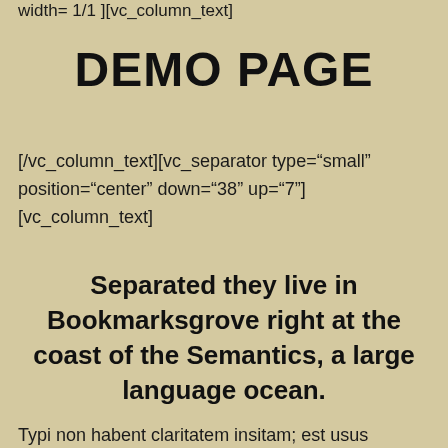width= 1/1 ][vc_column_text]
DEMO PAGE
[/vc_column_text][vc_separator type="small" position="center" down="38" up="7"] [vc_column_text]
Separated they live in Bookmarksgrove right at the coast of the Semantics, a large language ocean.
Typi non habent claritatem insitam; est usus